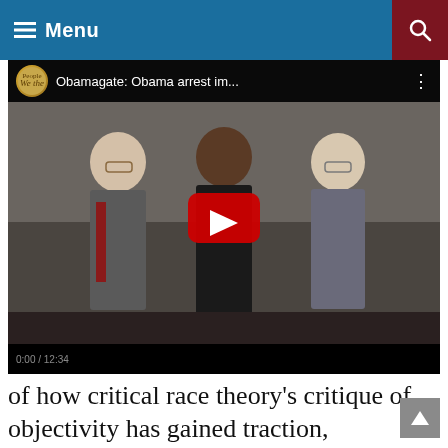Menu
[Figure (screenshot): YouTube video thumbnail showing 'Obamagate: Obama arrest im...' with three men in suits walking, and a YouTube play button overlay.]
of how critical race theory's critique of objectivity has gained traction,